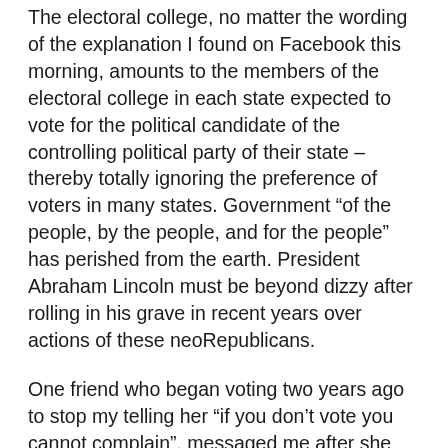The electoral college, no matter the wording of the explanation I found on Facebook this morning, amounts to the members of the electoral college in each state expected to vote for the political candidate of the controlling political party of their state – thereby totally ignoring the preference of voters in many states. Government “of the people, by the people, and for the people” has perished from the earth. President Abraham Lincoln must be beyond dizzy after rolling in his grave in recent years over actions of these neoRepublicans.
One friend who began voting two years ago to stop my telling her “if you don’t vote you cannot complain”, messaged me after she voted on Tuesday. A friend of her’s, voting